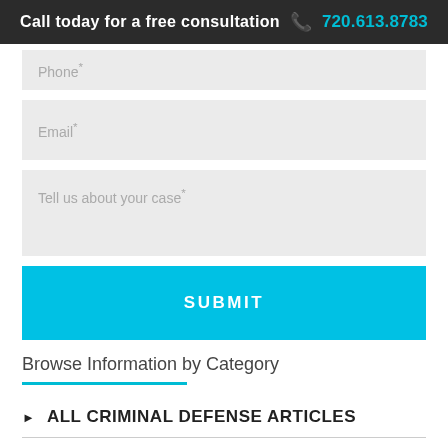Call today for a free consultation  720.613.8783
Phone*
Email*
Tell us about your case*
SUBMIT
Browse Information by Category
ALL CRIMINAL DEFENSE ARTICLES
ASSAULT ARTICLES